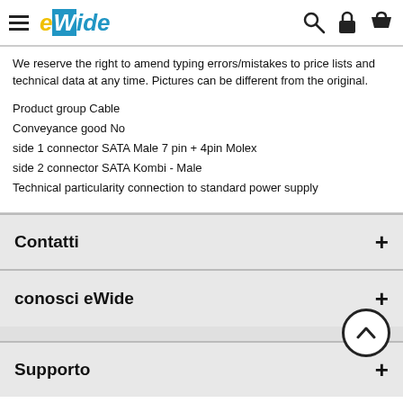eWide header navigation
We reserve the right to amend typing errors/mistakes to price lists and technical data at any time. Pictures can be different from the original.
Product group Cable
Conveyance good No
side 1 connector SATA Male 7 pin + 4pin Molex
side 2 connector SATA Kombi - Male
Technical particularity connection to standard power supply
Contatti
conosci eWide
Supporto